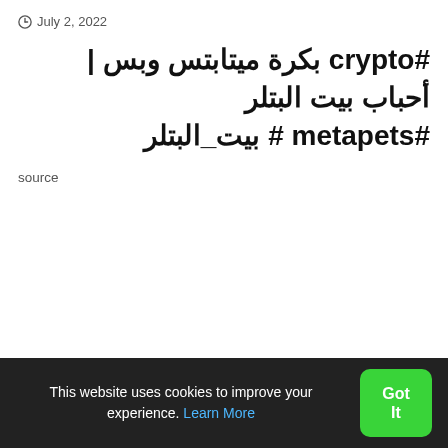July 2, 2022
#crypto بكرة ميتابتس وبس | أحباب بيت البتلر #metapets # بيت_البتلر
source
This website uses cookies to improve your experience. Learn More  Got It